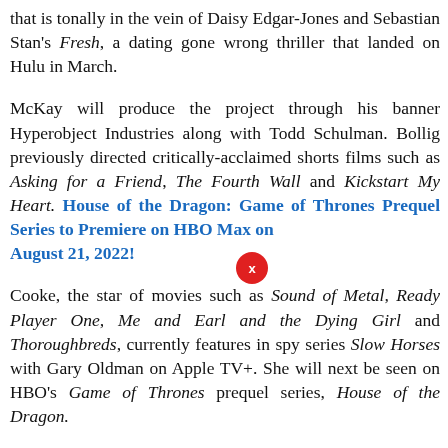that is tonally in the vein of Daisy Edgar-Jones and Sebastian Stan's Fresh, a dating gone wrong thriller that landed on Hulu in March.
McKay will produce the project through his banner Hyperobject Industries along with Todd Schulman. Bollig previously directed critically-acclaimed shorts films such as Asking for a Friend, The Fourth Wall and Kickstart My Heart. House of the Dragon: Game of Thrones Prequel Series to Premiere on HBO Max on August 21, 2022!
Cooke, the star of movies such as Sound of Metal, Ready Player One, Me and Earl and the Dying Girl and Thoroughbreds, currently features in spy series Slow Horses with Gary Oldman on Apple TV+. She will next be seen on HBO's Game of Thrones prequel series, House of the Dragon.